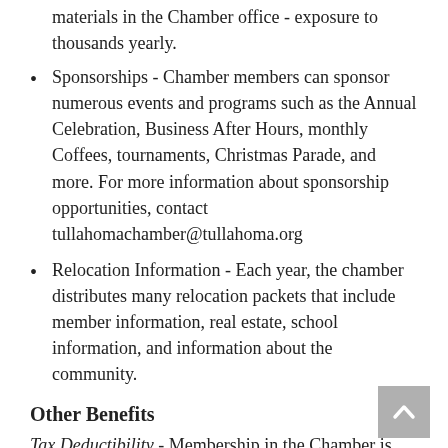materials in the Chamber office - exposure to thousands yearly.
Sponsorships - Chamber members can sponsor numerous events and programs such as the Annual Celebration, Business After Hours, monthly Coffees, tournaments, Christmas Parade, and more. For more information about sponsorship opportunities, contact tullahomachamber@tullahoma.org
Relocation Information - Each year, the chamber distributes many relocation packets that include member information, real estate, school information, and information about the community.
Other Benefits
Tax Deductibility - Membership in the Chamber is partially tax-deductible as a necessary business expense.
Meeting Room Usage - The Chamber Board room